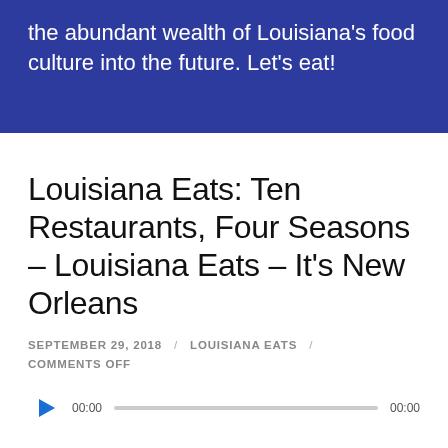the abundant wealth of Louisiana's food culture into the future. Let's eat!
Louisiana Eats: Ten Restaurants, Four Seasons – Louisiana Eats – It's New Orleans
SEPTEMBER 29, 2018 / LOUISIANA EATS / COMMENTS OFF
[Figure (other): Audio player widget with play button, timestamp 00:00, progress bar, and end time 00:00]